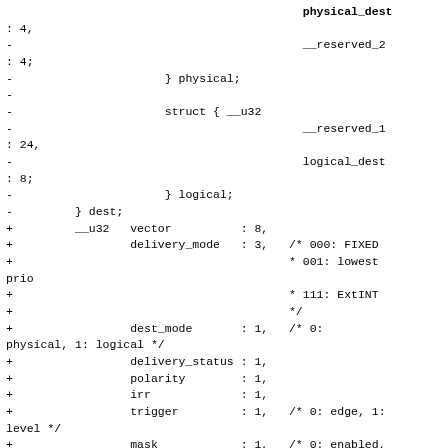: 4,
-                                          __reserved_2
: 4;
-                      } physical;
-
-                      struct { __u32
-                                          __reserved_1
: 24,
-                                          logical_dest
: 8;
-                      } logical;
-         } dest;
+         __u32   vector          : 8,
+                 delivery_mode   : 3,   /* 000: FIXED
+                                        * 001: lowest prio
+                                        * 111: ExtINT
+                                        */
+                 dest_mode       : 1,   /* 0: physical, 1: logical */
+                 delivery_status : 1,
+                 polarity        : 1,
+                 irr             : 1,
+                 trigger         : 1,   /* 0: edge, 1: level */
+                 mask            : 1,   /* 0: enabled, 1: disabled */
+                 __reserved_2    : 15;
+
+         u32     reserved_3      : 24,